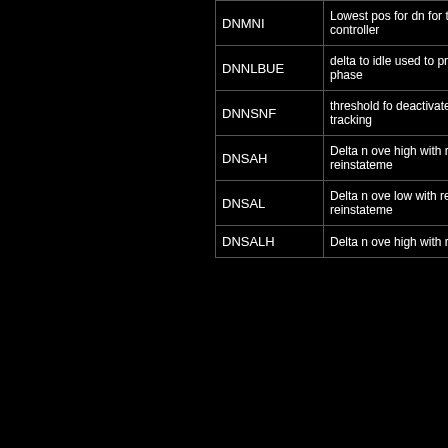| Name | Description |
| --- | --- |
| DNMNI | Lowest pos for dn for the controller |
| DNNLBUE | delta to idle used to pre phase |
| DNNSNF | threshold for deactivate s tracking |
| DNSAH | Delta n ove high with re reinstateme |
| DNSAL | Delta n ove low with ref reinstateme |
| DNSALH | Delta n ove high with re |